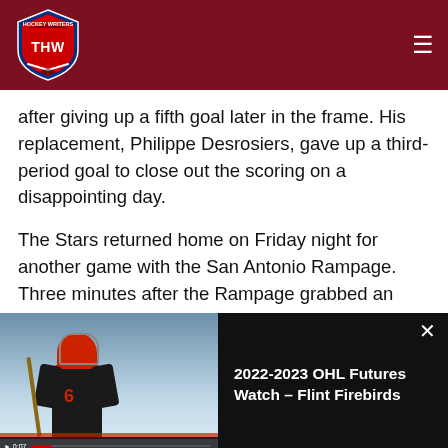THW Hockey Writers
after giving up a fifth goal later in the frame. His replacement, Philippe Desrosiers, gave up a third-period goal to close out the scoring on a disappointing day.
The Stars returned home on Friday night for another game with the San Antonio Rampage. Three minutes after the Rampage grabbed an early lead, Texas tied the game while on a five-on-three power play. Joel L'esperance picked up his 15th goal of
[Figure (photo): Hockey player wearing jersey number 6 on the ice, alongside an advertisement overlay for '2022-2023 OHL Futures Watch – Flint Firebirds']